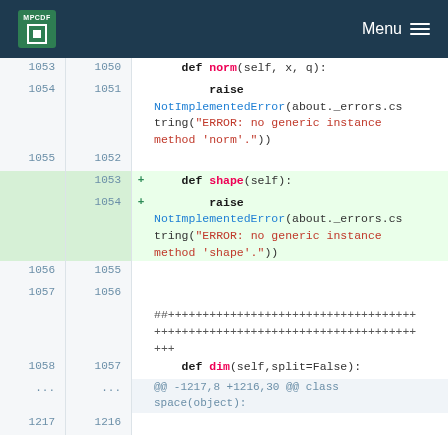MPCDF Menu
Code diff showing added methods 'shape' and related context around lines 1053-1217
1053 1050   def norm(self, x, q):
1054 1051       raise NotImplementedError(about._errors.cstring("ERROR: no generic instance method 'norm'."))
1055 1052
+ 1053   def shape(self):
+ 1054       raise NotImplementedError(about._errors.cstring("ERROR: no generic instance method 'shape'."))
1056 1055
1057 1056   ##+++++++++++++++++++++++++++++++++++++++++++++++++++++++++++++++
1058 1057   def dim(self,split=False):
...  ...   @@ -1217,8 +1216,30 @@ class space(object):
1217 1216